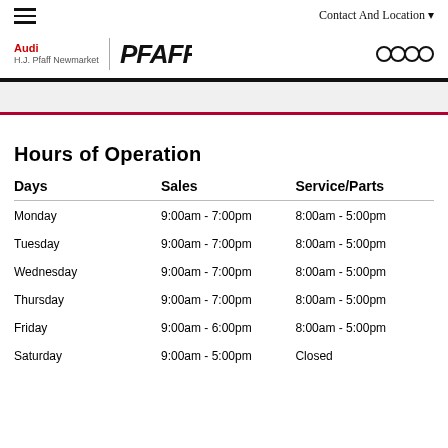Contact And Location
[Figure (logo): Audi H.J. Pfaff Newmarket logo with Pfaff wordmark and Audi four-rings logo]
Hours of Operation
| Days | Sales | Service/Parts |
| --- | --- | --- |
| Monday | 9:00am - 7:00pm | 8:00am - 5:00pm |
| Tuesday | 9:00am - 7:00pm | 8:00am - 5:00pm |
| Wednesday | 9:00am - 7:00pm | 8:00am - 5:00pm |
| Thursday | 9:00am - 7:00pm | 8:00am - 5:00pm |
| Friday | 9:00am - 6:00pm | 8:00am - 5:00pm |
| Saturday | 9:00am - 5:00pm | Closed |